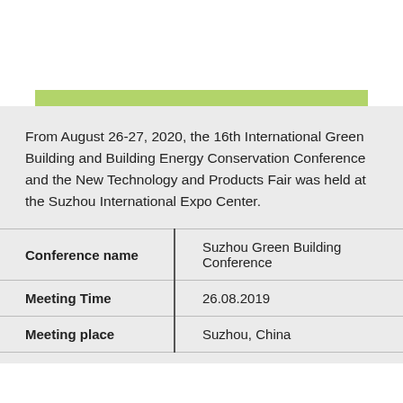From August 26-27, 2020, the 16th International Green Building and Building Energy Conservation Conference and the New Technology and Products Fair was held at the Suzhou International Expo Center.
| Conference name | Suzhou Green Building Conference |
| --- | --- |
| Meeting Time | 26.08.2019 |
| Meeting place | Suzhou, China |